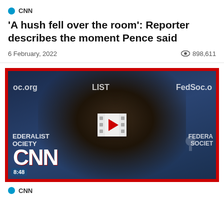CNN
'A hush fell over the room': Reporter describes the moment Pence said
6 February, 2022   898,611
[Figure (screenshot): CNN video thumbnail showing Mike Pence speaking at a Federalist Society event. The video has a red border, CNN logo in the bottom left, a play button in the center, and a duration badge showing 8:48. Background shows Federalist Society branding. FedSoc.org text visible.]
CNN